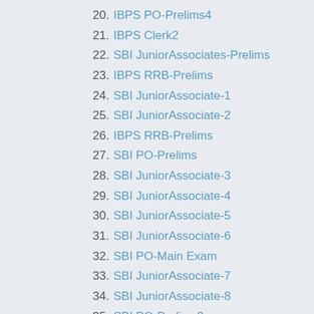20. IBPS PO-Prelims4
21. IBPS Clerk2
22. SBI JuniorAssociates-Prelims
23. IBPS RRB-Prelims
24. SBI JuniorAssociate-1
25. SBI JuniorAssociate-2
26. IBPS RRB-Prelims
27. SBI PO-Prelims
28. SBI JuniorAssociate-3
29. SBI JuniorAssociate-4
30. SBI JuniorAssociate-5
31. SBI JuniorAssociate-6
32. SBI PO-Main Exam
33. SBI JuniorAssociate-7
34. SBI JuniorAssociate-8
35. SBI PO-Prelims2
36. SBI PO-Prel